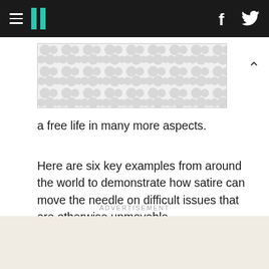HuffPost navigation with hamburger menu, logo, Facebook and Twitter icons
[Figure (illustration): Advertisement placeholder image with grey dot/circle pattern on light background, bordered box]
a free life in many more aspects.
Here are six key examples from around the world to demonstrate how satire can move the needle on difficult issues that are otherwise unmovable.
ADVERTISEMENT